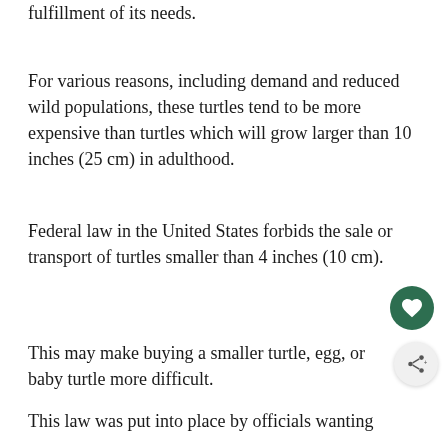fulfillment of its needs.
For various reasons, including demand and reduced wild populations, these turtles tend to be more expensive than turtles which will grow larger than 10 inches (25 cm) in adulthood.
Federal law in the United States forbids the sale or transport of turtles smaller than 4 inches (10 cm).
This may make buying a smaller turtle, egg, or baby turtle more difficult.
This law was put into place by officials wanting